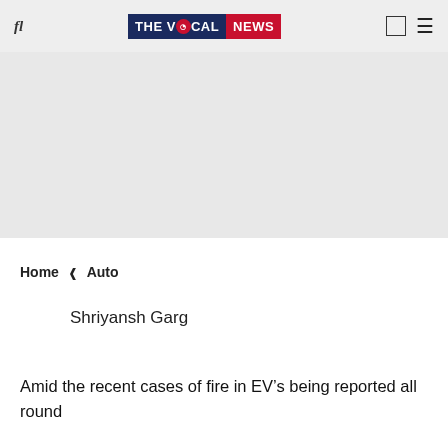THE VOCAL NEWS
[Figure (other): Advertisement/banner gray placeholder area]
Home ❯ Auto
Shriyansh Garg
Amid the recent cases of fire in EV’s being reported all round